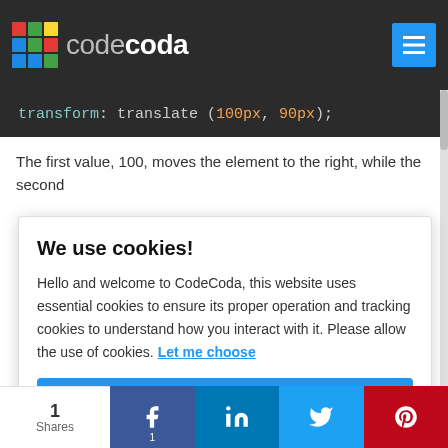codecoda
[Figure (screenshot): Code block showing: transform: translate (100px, 90px);]
The first value, 100, moves the element to the right, while the second
We use cookies!
Hello and welcome to CodeCoda, this website uses essential cookies to ensure its proper operation and tracking cookies to understand how you interact with it. Please allow the use of cookies. Let me choose
Accept all
Reject all
1 Shares  [Facebook 1] [LinkedIn] [Twitter] [Pinterest]